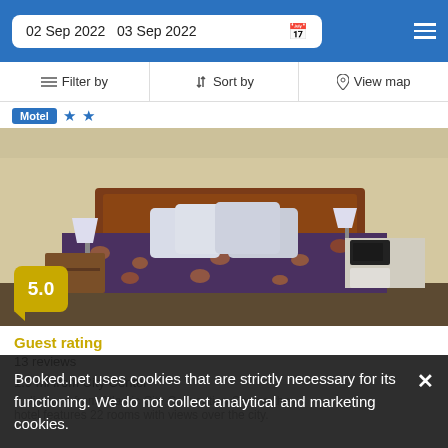02 Sep 2022   03 Sep 2022
Filter by   Sort by   View map
Motel ★★
[Figure (photo): Hotel room photo showing a double bed with floral bedspread, wooden headboard, two bedside lamps, nightstand, and small appliances on a counter in the background.]
5.0
Guest rating
13 reviews
1.9 mi from City Center
Booked.net uses cookies that are strictly necessary for its functioning. We do not collect analytical and marketing cookies.
hotel features 22 rooms with views over the city.